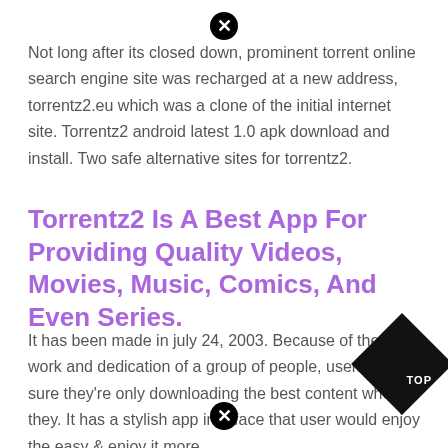Not long after its closed down, prominent torrent online search engine site was recharged at a new address, torrentz2.eu which was a clone of the initial internet site. Torrentz2 android latest 1.0 apk download and install. Two safe alternative sites for torrentz2.
Torrentz2 Is A Best App For Providing Quality Videos, Movies, Music, Comics, And Even Series.
It has been made in july 24, 2003. Because of the hard work and dedication of a group of people, users can be sure they're only downloading the best content when they. It has a stylish app interface that user would enjoy the easy & enjoy it more.
Torrentz2 Search Engine India's Greatest Web Index You Can Access